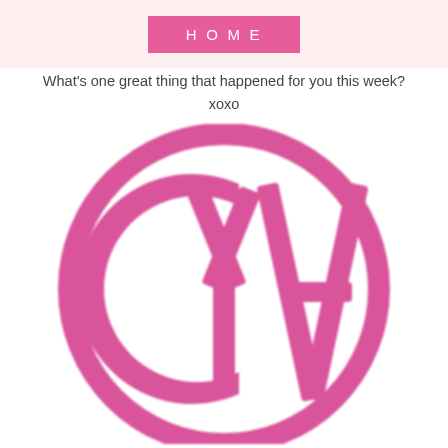HOME
What's one great thing that happened for you this week?
xoxo
[Figure (logo): Pink circular monogram logo with letters G, Y, A arranged in a circle/monogram style in bold pink color]